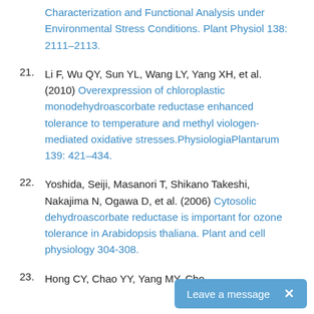Characterization and Functional Analysis under Environmental Stress Conditions. Plant Physiol 138: 2111–2113.
21. Li F, Wu QY, Sun YL, Wang LY, Yang XH, et al. (2010) Overexpression of chloroplastic monodehydroascorbate reductase enhanced tolerance to temperature and methyl viologen-mediated oxidative stresses.PhysiologiaPlantarum 139: 421–434.
22. Yoshida, Seiji, Masanori T, Shikano Takeshi, Nakajima N, Ogawa D, et al. (2006) Cytosolic dehydroascorbate reductase is important for ozone tolerance in Arabidopsis thaliana. Plant and cell physiology 304-308.
23. Hong CY, Chao YY, Yang MY, Cho...